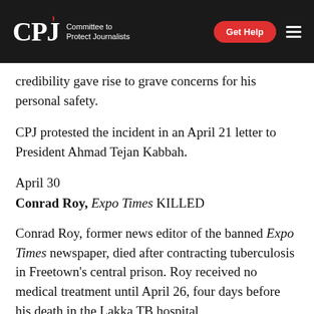CPJ — Committee to Protect Journalists
credibility gave rise to grave concerns for his personal safety.
CPJ protested the incident in an April 21 letter to President Ahmad Tejan Kabbah.
April 30
Conrad Roy, Expo Times KILLED
Conrad Roy, former news editor of the banned Expo Times newspaper, died after contracting tuberculosis in Freetown's central prison. Roy received no medical treatment until April 26, four days before his death in the Lakka TB hospital